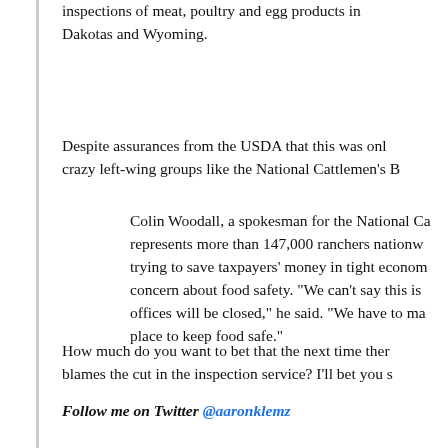inspections of meat, poultry and egg products in the Dakotas and Wyoming.
Despite assurances from the USDA that this was only crazy left-wing groups like the National Cattlemen's B
Colin Woodall, a spokesman for the National Ca represents more than 147,000 ranchers nationw trying to save taxpayers' money in tight econom concern about food safety. "We can't say this is offices will be closed," he said. "We have to ma place to keep food safe."
How much do you want to bet that the next time ther blames the cut in the inspection service? I'll bet you s
Follow me on Twitter @aaronklemz